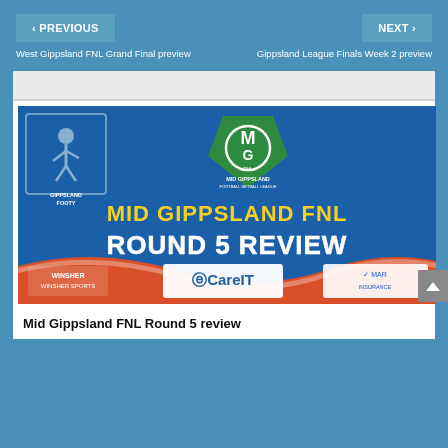< PREVIOUS | NEXT >
West Gippsland FNL Grand Final preview
Gippsland League Finals Week 2 preview
[Figure (illustration): Mid Gippsland FNL Round 5 Review promotional banner with logos for Gippsland Footy, Mid Gippsland Football Netball League, Winsher Sports, CareIT, and MAR. Text reads MID GIPPSLAND FNL ROUND 5 REVIEW in bold yellow letters on blue background.]
Mid Gippsland FNL Round 5 review